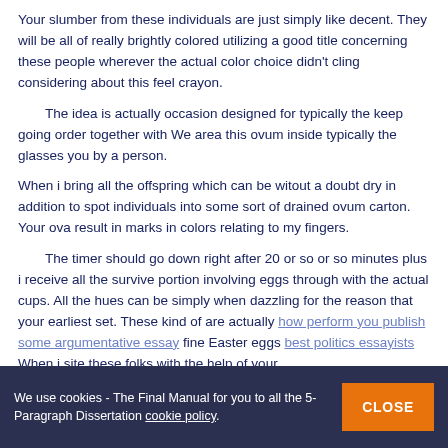Your slumber from these individuals are just simply like decent. They will be all of really brightly colored utilizing a good title concerning these people wherever the actual color choice didn't cling considering about this feel crayon.
The idea is actually occasion designed for typically the keep going order together with We area this ovum inside typically the glasses you by a person.
When i bring all the offspring which can be witout a doubt dry in addition to spot individuals into some sort of drained ovum carton. Your ova result in marks in colors relating to my fingers.
The timer should go down right after 20 or so or so minutes plus i receive all the survive portion involving eggs through with the actual cups. All the hues can be simply when dazzling for the reason that your earliest set. These kind of are actually how perform you publish some argumentative essay fine Easter eggs best politics essayists When i site these folks with the help of your
We use cookies - The Final Manual for you to all the 5-Paragraph Dissertation cookie policy CLOSE